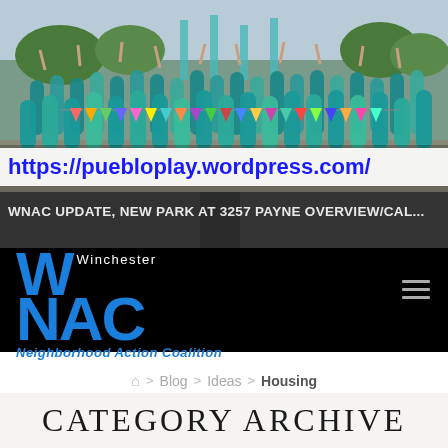[Figure (photo): Large group photo of people in teal/blue t-shirts at a playground, arms raised, with colorful pennant banners. Playground equipment visible in background.]
https://puebloplay.wordpress.com/
WNAC UPDATE, NEW PARK AT 3257 PAYNE OVERVIEW/CAL...
[Figure (logo): Winchester WNAC Neighborhood Action Coalition logo — large blue W and NAC letters on black background with 'Winchester' text above and 'Neighborhood Action Coalition' in italic below]
🏠 > Blog > Ideas > Housing
CATEGORY ARCHIVE